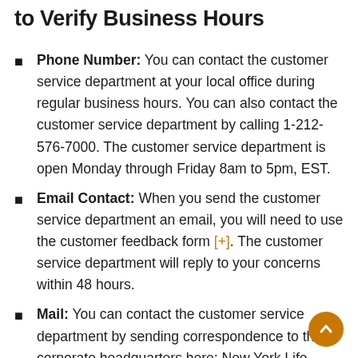to Verify Business Hours
Phone Number: You can contact the customer service department at your local office during regular business hours. You can also contact the customer service department by calling 1-212-576-7000. The customer service department is open Monday through Friday 8am to 5pm, EST.
Email Contact: When you send the customer service department an email, you will need to use the customer feedback form [+]. The customer service department will reply to your concerns within 48 hours.
Mail: You can contact the customer service department by sending correspondence to the corporate headquarters here: New York Life Insurance Company 51 Madison Avenue New York, NY 10010. You can also use the office locator tool [+] to reach out to your local agent. The customer service department will reply to your concerns within